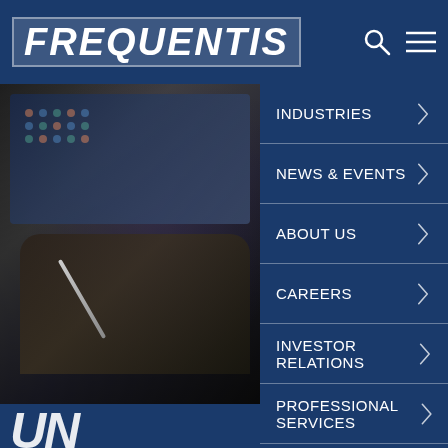[Figure (logo): Frequentis logo in white italic bold text on dark blue background]
[Figure (photo): Person writing or drawing on a tablet/device with monitors visible in background, dark tones]
INDUSTRIES
NEWS & EVENTS
ABOUT US
CAREERS
INVESTOR RELATIONS
PROFESSIONAL SERVICES
LANGUAGE
Home > Air Traffic > Air Traffic Management
UN